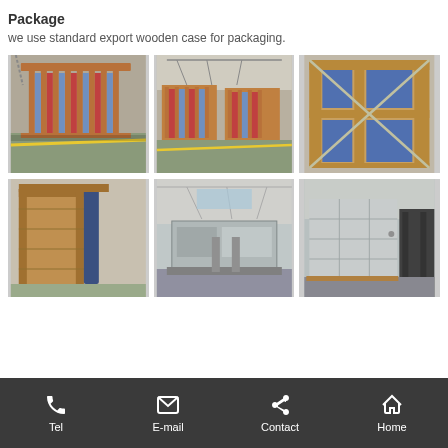Package
we use standard export wooden case for packaging.
[Figure (photo): Six warehouse photos showing solar collector panels packaged in wooden export crates and metal-frame packaging]
Tel  E-mail  Contact  Home